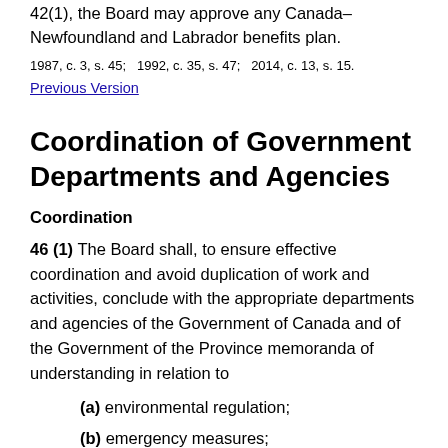42(1), the Board may approve any Canada–Newfoundland and Labrador benefits plan.
1987, c. 3, s. 45;   1992, c. 35, s. 47;   2014, c. 13, s. 15.
Previous Version
Coordination of Government Departments and Agencies
Coordination
46 (1) The Board shall, to ensure effective coordination and avoid duplication of work and activities, conclude with the appropriate departments and agencies of the Government of Canada and of the Government of the Province memoranda of understanding in relation to
(a) environmental regulation;
(b) emergency measures;
(c) coast guard and other marine regulation;